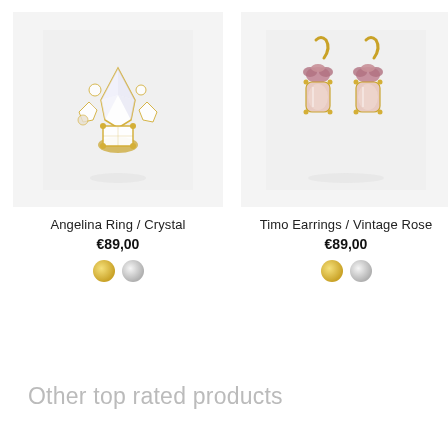[Figure (photo): Photo of Angelina Ring in Crystal – a cluster ring with large pear-shaped crystal and smaller crystals in gold setting, on light gray background]
Angelina Ring / Crystal
€89,00
[Figure (photo): Photo of Timo Earrings in Vintage Rose – two dangling earrings with pink/rose crystals topped with smaller pink stones in gold setting, on light gray background]
Timo Earrings / Vintage Rose
€89,00
Other top rated products